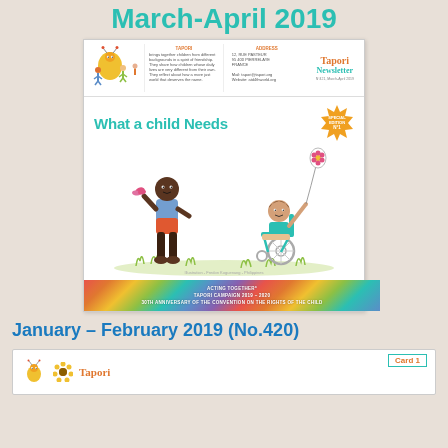March-April 2019
[Figure (illustration): Tapori Newsletter cover for March-April 2019 issue. Shows the Tapori newsletter masthead with logo, columns for 'Tapori' and 'Address', and the newsletter title. The cover features the text 'What a child Needs' in teal cursive font, a special edition badge, and an illustration of two children — one standing Black child holding a butterfly, one child in a wheelchair holding a balloon — on grassy ground. Bottom has a colorful geometric campaign banner reading 'ACTING TOGETHER TAPORI CAMPAIGN 2019-2020 30TH ANNIVERSARY OF THE CONVENTION ON THE RIGHTS OF THE CHILD'.]
January – February 2019 (No.420)
[Figure (illustration): Bottom preview strip showing the start of the January-February 2019 Tapori newsletter with the Tapori logo, a sunflower graphic, the word 'Tapori' in orange, and a 'Card 1' label in orange with teal border on the right.]